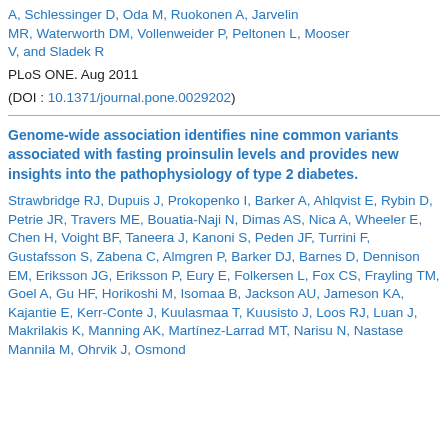A, Schlessinger D, Oda M, Ruokonen A, Jarvelin MR, Waterworth DM, Vollenweider P, Peltonen L, Mooser V, and Sladek R
PLoS ONE. Aug 2011
(DOI : 10.1371/journal.pone.0029202)
Genome-wide association identifies nine common variants associated with fasting proinsulin levels and provides new insights into the pathophysiology of type 2 diabetes.
Strawbridge RJ, Dupuis J, Prokopenko I, Barker A, Ahlqvist E, Rybin D, Petrie JR, Travers ME, Bouatia-Naji N, Dimas AS, Nica A, Wheeler E, Chen H, Voight BF, Taneera J, Kanoni S, Peden JF, Turrini F, Gustafsson S, Zabena C, Almgren P, Barker DJ, Barnes D, Dennison EM, Eriksson JG, Eriksson P, Eury E, Folkersen L, Fox CS, Frayling TM, Goel A, Gu HF, Horikoshi M, Isomaa B, Jackson AU, Jameson KA, Kajantie E, Kerr-Conte J, Kuulasmaa T, Kuusisto J, Loos RJ, Luan J, Makrilakis K, Manning AK, Martínez-Larrad MT, Narisu N, Nastase Mannila M, Ohrvik J, Osmond